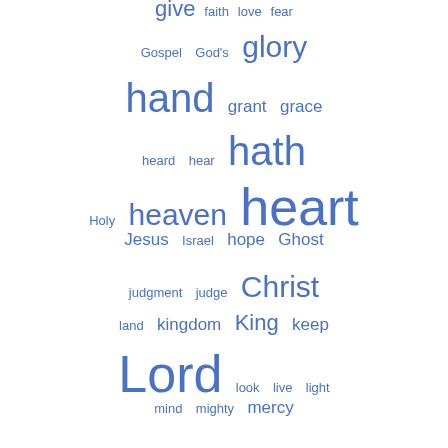[Figure (infographic): Word cloud with religious/biblical terms in varying sizes displayed in blue on white background. Larger words appear more frequently. Words include: give, faith, love, fear, Gospel, God's, glory, hand, grant, grace, heard, hear, hath, Holy, heaven, heart, Jesus, Israel, hope, Ghost, judgment, judge, Christ, land, kingdom, King, keep, Lord, look, live, light, mind, mighty, mercy, mouth, Morning, Minister, praise, peace, night, Priest, present, Prayer, rejoice, receive, Psalm, saith, saints, righteous, sing, servant, salvation, Spirit, speak, soul, sins, thanks, strength, stand]